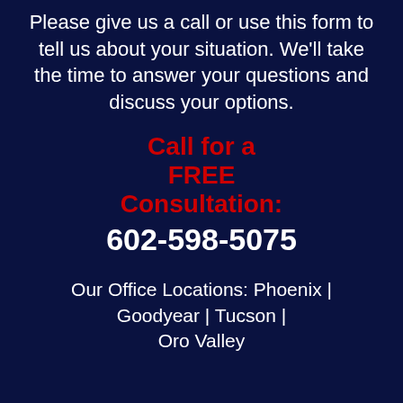Please give us a call or use this form to tell us about your situation. We'll take the time to answer your questions and discuss your options.
Call for a FREE Consultation: 602-598-5075
Our Office Locations: Phoenix | Goodyear | Tucson | Oro Valley